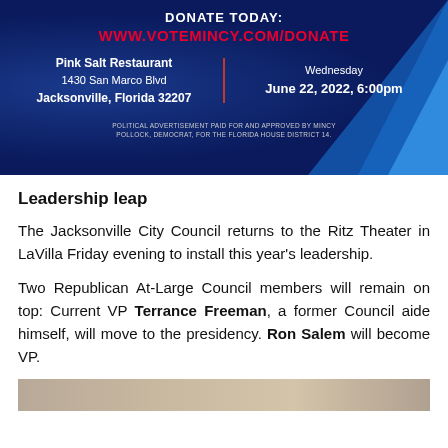[Figure (infographic): Political advertisement banner with dark navy blue background. Header reads 'DONATE TODAY:' in white bold text, followed by 'WWW.VOTEMINCY.COM/DONATE' in large red bold text. Below, left column shows 'Pink Salt Restaurant / 1430 San Marco Blvd / Jacksonville, Florida 32207' separated by a red vertical line from right column showing 'Wednesday / June 22, 2022, 6:00pm'. Bottom disclaimer: 'POLITICAL ADVERTISEMENT PAID FOR AND APPROVED BY MINCY POLLOCK, DEMOCRAT, FOR THE FLORIDA HOUSE DISTRICT 14.']
Leadership leap
The Jacksonville City Council returns to the Ritz Theater in LaVilla Friday evening to install this year's leadership.
Two Republican At-Large Council members will remain on top: Current VP Terrance Freeman, a former Council aide himself, will move to the presidency. Ron Salem will become VP.
[Figure (photo): Partial bottom image visible, appears to be a photo with tan/beige tones, cropped at bottom of page.]